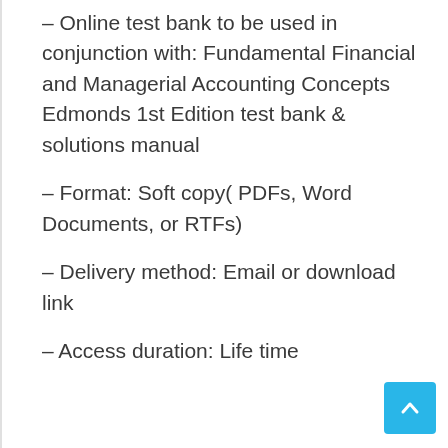– Online test bank to be used in conjunction with: Fundamental Financial and Managerial Accounting Concepts Edmonds 1st Edition test bank & solutions manual
– Format: Soft copy( PDFs, Word Documents, or RTFs)
– Delivery method: Email or download link
– Access duration: Life time